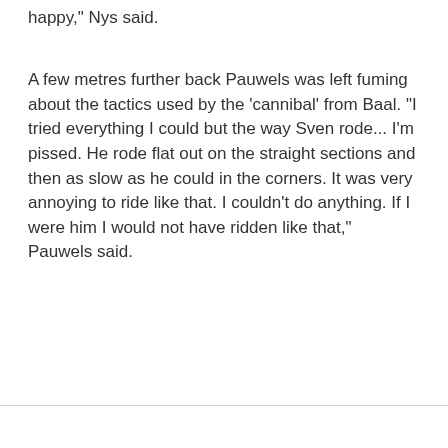happy," Nys said.
A few metres further back Pauwels was left fuming about the tactics used by the 'cannibal' from Baal. "I tried everything I could but the way Sven rode... I'm pissed. He rode flat out on the straight sections and then as slow as he could in the corners. It was very annoying to ride like that. I couldn't do anything. If I were him I would not have ridden like that," Pauwels said.